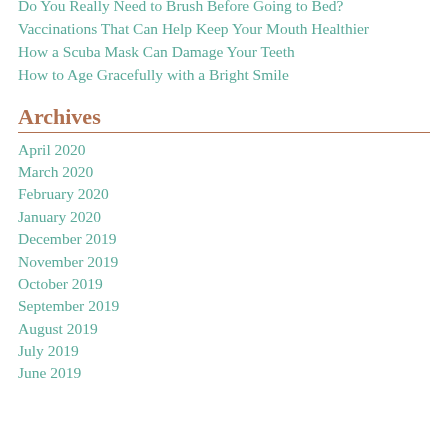Do You Really Need to Brush Before Going to Bed?
Vaccinations That Can Help Keep Your Mouth Healthier
How a Scuba Mask Can Damage Your Teeth
How to Age Gracefully with a Bright Smile
Archives
April 2020
March 2020
February 2020
January 2020
December 2019
November 2019
October 2019
September 2019
August 2019
July 2019
June 2019